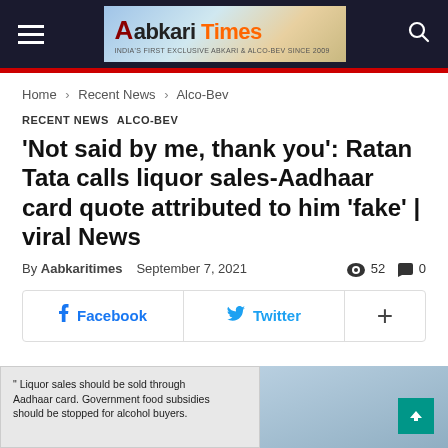Aabkari Times
Home › Recent News › Alco-Bev
RECENT NEWS  ALCO-BEV
'Not said by me, thank you': Ratan Tata calls liquor sales-Aadhaar card quote attributed to him 'fake' | viral News
By Aabkaritimes  September 7, 2021  👁 52  💬 0
[Figure (other): Social share buttons: Facebook, Twitter, and plus/more options]
[Figure (photo): Bottom image strip showing a quote card about liquor sales and Aadhaar card on the left, and a photo of an elderly man on the right with a teal scroll-to-top button]